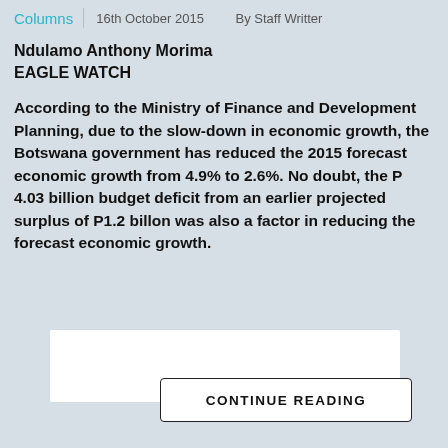Columns  |  16th October 2015  By Staff Writter
Ndulamo Anthony Morima
EAGLE WATCH
According to the Ministry of Finance and Development Planning, due to the slow-down in economic growth, the Botswana government has reduced the 2015 forecast economic growth from 4.9% to 2.6%. No doubt, the P 4.03 billion budget deficit from an earlier projected surplus of P1.2 billon was also a factor in reducing the forecast economic growth.
CONTINUE READING